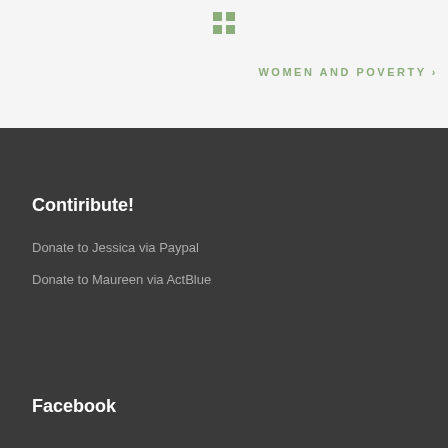[Figure (logo): Four small green squares arranged in a 2x2 grid icon]
WOMEN AND POVERTY >
Contiribute!
Donate to Jessica via Paypal
Donate to Maureen via ActBlue
Facebook